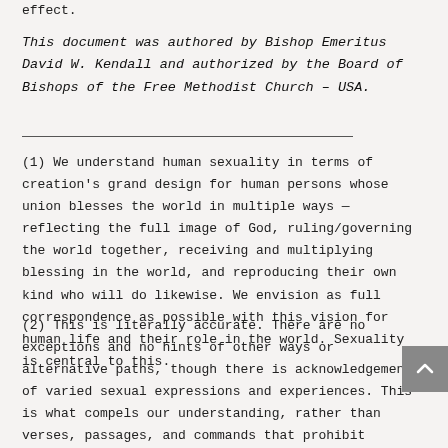effect.
This document was authored by Bishop Emeritus David W. Kendall and authorized by the Board of Bishops of the Free Methodist Church – USA.
——————————————————————————————————————————————————
(1) We understand human sexuality in terms of creation's grand design for human persons whose union blesses the world in multiple ways — reflecting the full image of God, ruling/governing the world together, receiving and multiplying blessing in the world, and reproducing their own kind who will do likewise. We envision as full correspondence as possible with this vision for human life and their role in the world. Sexuality is central to this.
(2) This is literally accurate. There are no exceptions and no hints of other ways or alternative paths, though there is acknowledgement of varied sexual expressions and experiences. This is what compels our understanding, rather than verses, passages, and commands that prohibit differing sexual experiences and relationships.